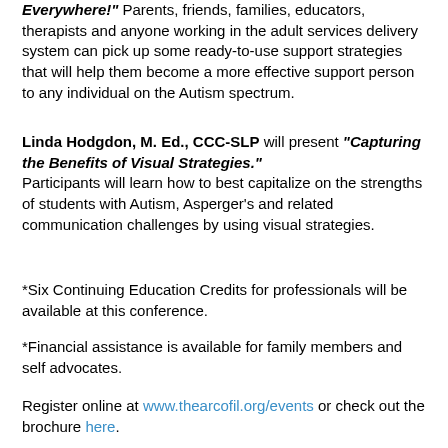"Everywhere!" Parents, friends, families, educators, therapists and anyone working in the adult services delivery system can pick up some ready-to-use support strategies that will help them become a more effective support person to any individual on the Autism spectrum.
Linda Hodgdon, M. Ed., CCC-SLP will present "Capturing the Benefits of Visual Strategies." Participants will learn how to best capitalize on the strengths of students with Autism, Asperger's and related communication challenges by using visual strategies.
*Six Continuing Education Credits for professionals will be available at this conference.
*Financial assistance is available for family members and self advocates.
Register online at www.thearcofil.org/events or check out the brochure here.